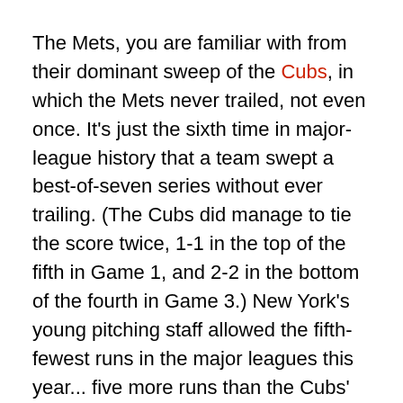The Mets, you are familiar with from their dominant sweep of the Cubs, in which the Mets never trailed, not even once. It's just the sixth time in major-league history that a team swept a best-of-seven series without ever trailing. (The Cubs did manage to tie the score twice, 1-1 in the top of the fifth in Game 1, and 2-2 in the bottom of the fourth in Game 3.) New York's young pitching staff allowed the fifth-fewest runs in the major leagues this year... five more runs than the Cubs' staff. (Oh, well.)
The Royals have been here before, coming within one run of winning the whole thing in Game 7 last year against the Giants. They should have known that the even-numbered-year pattern of Giants wins wouldn't allow any other result in 2014. (Let's hope the Cubs